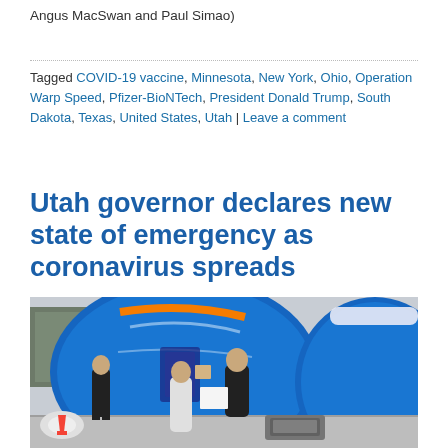Angus MacSwan and Paul Simao)
Tagged COVID-19 vaccine, Minnesota, New York, Ohio, Operation Warp Speed, Pfizer-BioNTech, President Donald Trump, South Dakota, Texas, United States, Utah | Leave a comment
Utah governor declares new state of emergency as coronavirus spreads
[Figure (photo): Three people standing outside in front of large blue inflatable tent structures, likely a field hospital or emergency medical setup. One man in a dark suit, a woman in a light coat, and a man in a dark jacket are conversing outdoors near orange traffic cones and medical equipment.]